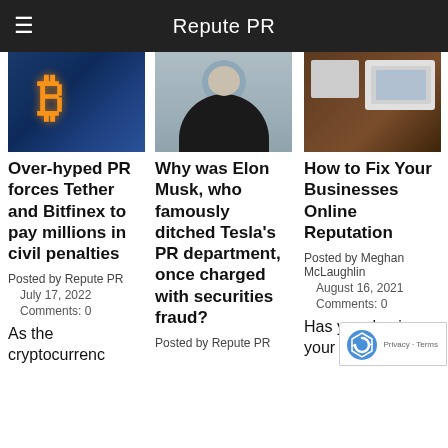Repute PR
[Figure (photo): Bitcoin gold coin on blue digital background]
Over-hyped PR forces Tether and Bitfinex to pay millions in civil penalties
Posted by Repute PR
July 17, 2022
Comments: 0
As the cryptocurrenc
[Figure (photo): Man in dark suit with white shirt, headshot]
Why was Elon Musk, who famously ditched Tesla's PR department, once charged with securities fraud?
Posted by Repute PR
[Figure (photo): Laptop and tablet on wooden desk]
How to Fix Your Businesses Online Reputation
Posted by Meghan McLaughlin
August 16, 2021
Comments: 0
Has your business your bran recently